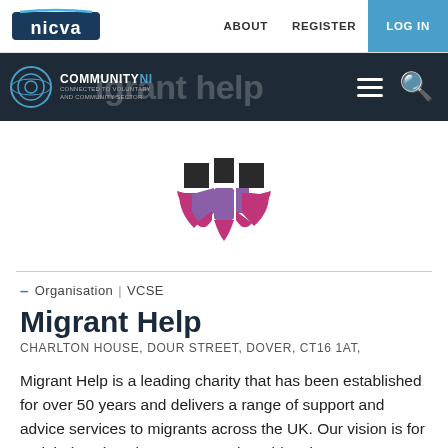nicva — ABOUT  REGISTER  LOG IN
[Figure (screenshot): NICVA website header with Community NI logo and migrant help banner text with hamburger and search icons]
[Figure (logo): Migrant Help logo: purple and magenta segmented globe/shield icon]
– Organisation | VCSE
Migrant Help
CHARLTON HOUSE, DOUR STREET, DOVER, CT16 1AT,
Migrant Help is a leading charity that has been established for over 50 years and delivers a range of support and advice services to migrants across the UK. Our vision is for a global society that protects vulnerable migrants, treats them with respect and enables them to reach their full